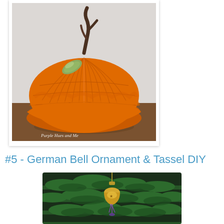[Figure (photo): Orange fabric/felt pumpkin craft made from pleated/ruffled material arranged in tiers, with a dark twisted stem on top and a green glittery leaf. Watermark reads 'Purple Hues and Me'. The pumpkin sits on a wooden surface against a light wall background.]
#5 - German Bell Ornament & Tassel DIY
[Figure (photo): A decorative German bell ornament with tassel hanging on a Christmas tree with green pine branches. The ornament appears gold/yellow with purple tassel details.]